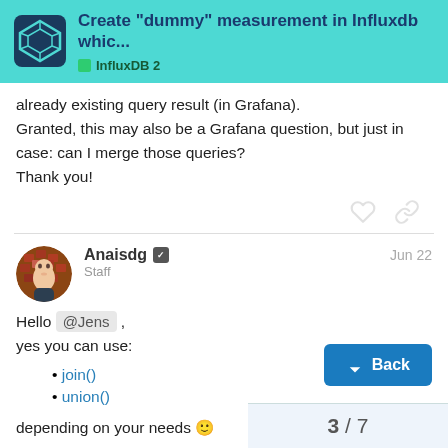Create “dummy” measurement in Influxdb whic... | InfluxDB 2
already existing query result (in Grafana).
Granted, this may also be a Grafana question, but just in case: can I merge those queries?
Thank you!
Anaisdg ◐  Staff  Jun 22
Hello @Jens ,
yes you can use:
join()
union()
depending on your needs 🙂